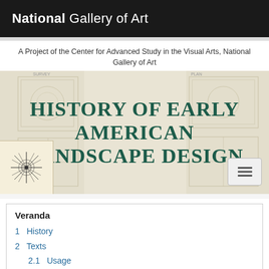National Gallery of Art
A Project of the Center for Advanced Study in the Visual Arts, National Gallery of Art
HISTORY OF EARLY AMERICAN LANDSCAPE DESIGN
[Figure (illustration): Compass rose / wind rose icon on a tan background square]
[Figure (other): Hamburger menu button (three horizontal lines) on a light gray rounded rectangle]
Veranda
1  History
2  Texts
2.1  Usage
2.2  Citations
3  Images